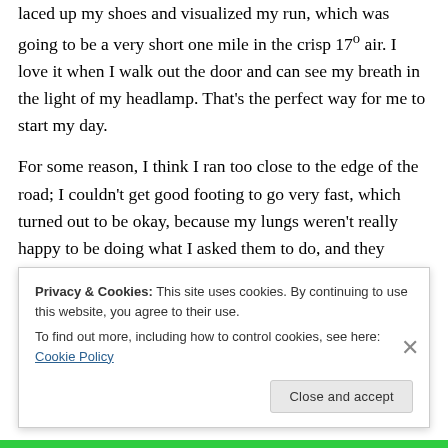laced up my shoes and visualized my run, which was going to be a very short one mile in the crisp 17º air. I love it when I walk out the door and can see my breath in the light of my headlamp. That's the perfect way for me to start my day.
For some reason, I think I ran too close to the edge of the road; I couldn't get good footing to go very fast, which turned out to be okay, because my lungs weren't really happy to be doing what I asked them to do, and they immediately (this is a new thing) started spasming.
Breathing got difficult really fast, when usually my
Privacy & Cookies: This site uses cookies. By continuing to use this website, you agree to their use.
To find out more, including how to control cookies, see here: Cookie Policy